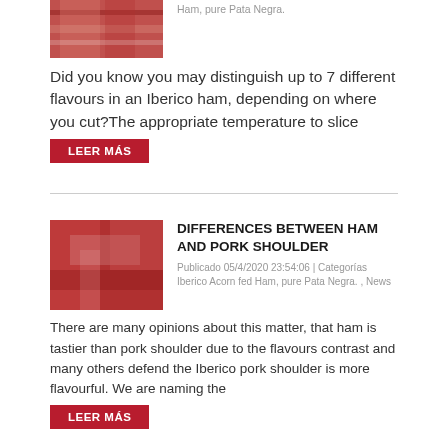[Figure (photo): Partial view of sliced Iberico ham at top of page]
Ham, pure Pata Negra.
Did you know you may distinguish up to 7 different flavours in an Iberico ham, depending on where you cut?The appropriate temperature to slice
LEER MÁS
[Figure (photo): Close-up of sliced Iberico ham showing red and white marbling]
DIFFERENCES BETWEEN HAM AND PORK SHOULDER
Publicado 05/4/2020 23:54:06 | Categorías Iberico Acorn fed Ham, pure Pata Negra. , News
There are many opinions about this matter, that ham is tastier than pork shoulder due to the flavours contrast and many others defend the Iberico pork shoulder is more flavourful. We are naming the
LEER MÁS
[Figure (photo): Hams hanging, cured Iberico hams in storage]
WHY DO HAMS HANG?
Publicado 03/30/2020 22:49:24 | Categorías Iberico Acorn fed Ham, pure Pata Negra. , News